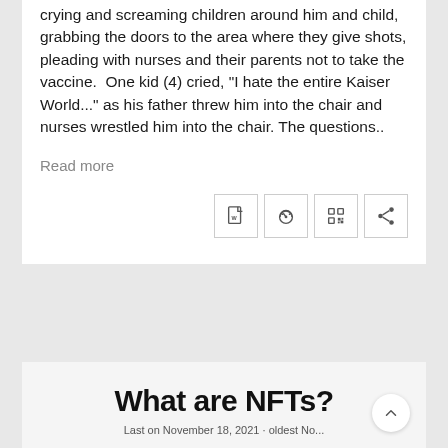crying and screaming children around him and child, grabbing the doors to the area where they give shots, pleading with nurses and their parents not to take the vaccine. One kid (4) cried, "I hate the entire Kaiser World..." as his father threw him into the chair and nurses wrestled him into the chair. The questions..
Read more
What are NFTs?
Last on November 18, 2021 · oldest No...